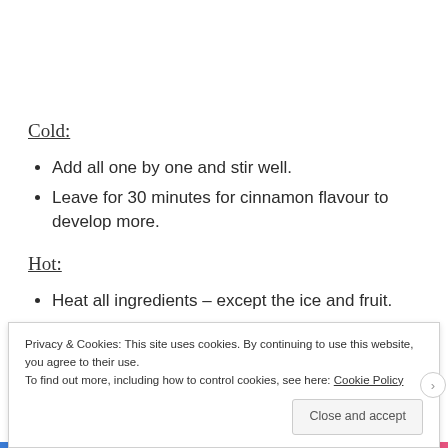Cold:
Add all one by one and stir well.
Leave for 30 minutes for cinnamon flavour to develop more.
Hot:
Heat all ingredients – except the ice and fruit.
Privacy & Cookies: This site uses cookies. By continuing to use this website, you agree to their use.
To find out more, including how to control cookies, see here: Cookie Policy
Close and accept